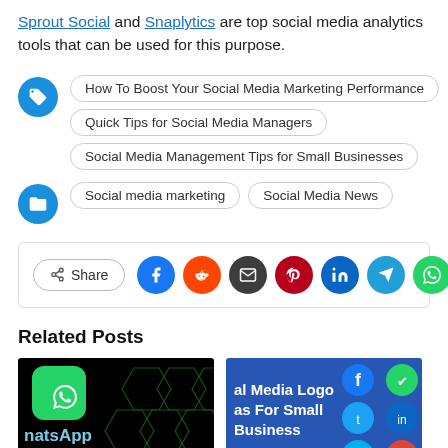Sprout Social and Snaplytics are top social media analytics tools that can be used for this purpose.
How To Boost Your Social Media Marketing Performance
Quick Tips for Social Media Managers
Social Media Management Tips for Small Businesses
Social media marketing | Social Media News
[Figure (infographic): Share button row with Facebook, Reddit, Email, Pinterest, LinkedIn, Telegram, WhatsApp social sharing icons]
Related Posts
[Figure (photo): WhatsApp logo card with green icon on black background with hexagon pattern and 'WhatsApp Logo' text]
[Figure (photo): Social Media Logo ideas For Small Business card with blue background and social media icons]